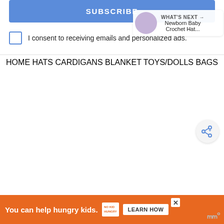SUBSCRIBE
I consent to receiving emails and personalized ads.
HOME
HATS
CARDIGANS
BLANKET
TOYS/DOLLS
BAGS
[Figure (other): Share button icon (circle with share symbol)]
WHAT'S NEXT → Newborn Baby Crochet Hat...
You can help hungry kids. NO KID HUNGRY LEARN HOW